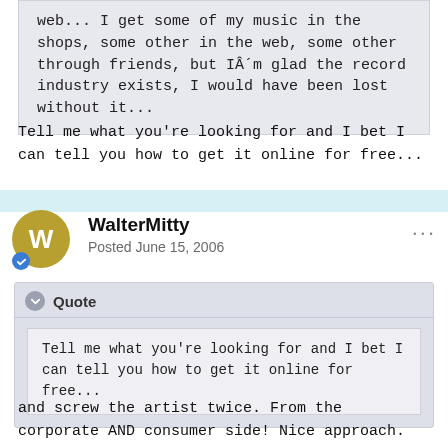web... I get some of my music in the shops, some other in the web, some other through friends, but IÂ´m glad the record industry exists, I would have been lost without it...
Tell me what you're looking for and I bet I can tell you how to get it online for free...
WalterMitty
Posted June 15, 2006
Quote
Tell me what you're looking for and I bet I can tell you how to get it online for free...
and screw the artist twice. From the corporate AND consumer side! Nice approach.